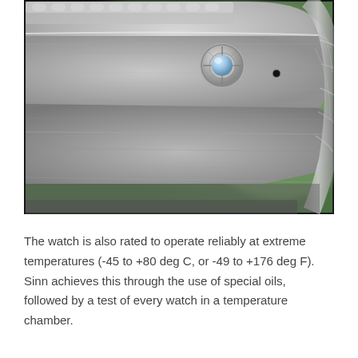[Figure (photo): Close-up photograph of the side of a watch case, showing the crown area with a screw-down crown mechanism featuring a blue-tinted lens element, and a small drilled hole nearby. The case appears to be made of brushed titanium or stainless steel. A braided strap or rope is visible at the right. The background is blurred green foliage.]
The watch is also rated to operate reliably at extreme temperatures (-45 to +80 deg C, or -49 to +176 deg F). Sinn achieves this through the use of special oils, followed by a test of every watch in a temperature chamber.